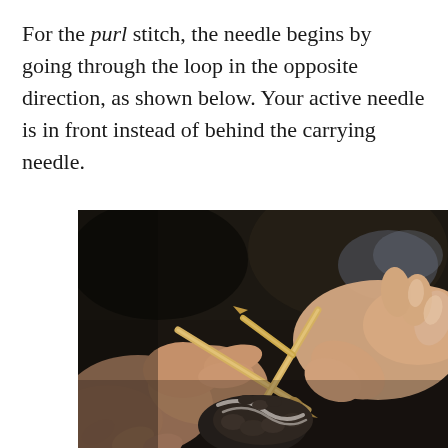For the purl stitch, the needle begins by going through the loop in the opposite direction, as shown below. Your active needle is in front instead of behind the carrying needle.
[Figure (photo): Close-up photograph of two hands performing a purl knitting stitch with wooden/bamboo needles and dark yarn with white wool, showing the active needle in front of the carrying needle.]